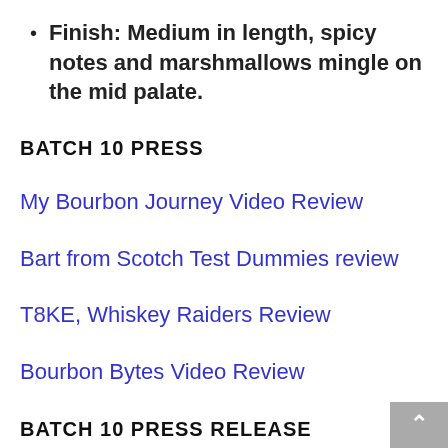Finish: Medium in length, spicy notes and marshmallows mingle on the mid palate.
BATCH 10 PRESS
My Bourbon Journey Video Review
Bart from Scotch Test Dummies review
T8KE, Whiskey Raiders Review
Bourbon Bytes Video Review
BATCH 10 PRESS RELEASE